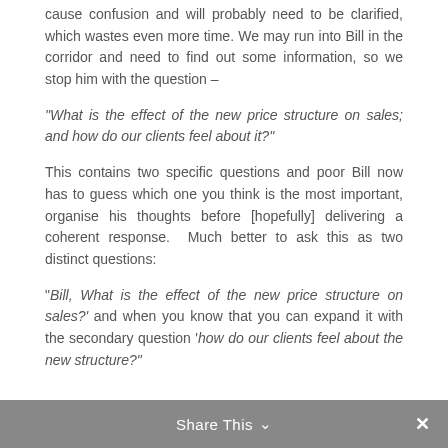cause confusion and will probably need to be clarified, which wastes even more time. We may run into Bill in the corridor and need to find out some information, so we stop him with the question –
“What is the effect of the new price structure on sales; and how do our clients feel about it?”
This contains two specific questions and poor Bill now has to guess which one you think is the most important, organise his thoughts before [hopefully] delivering a coherent response.  Much better to ask this as two distinct questions:
“Bill, What is the effect of the new price structure on sales?’ and when you know that you can expand it with the secondary question ‘how do our clients feel about the new structure?”
Share This ∨  ×